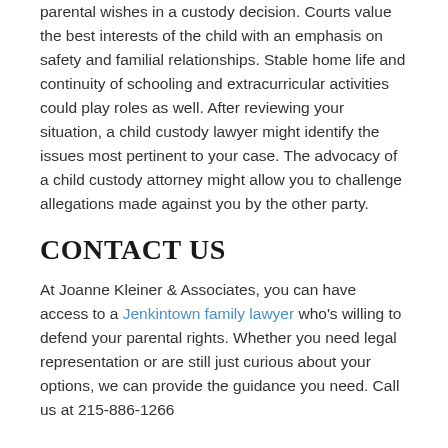parental wishes in a custody decision. Courts value the best interests of the child with an emphasis on safety and familial relationships. Stable home life and continuity of schooling and extracurricular activities could play roles as well. After reviewing your situation, a child custody lawyer might identify the issues most pertinent to your case. The advocacy of a child custody attorney might allow you to challenge allegations made against you by the other party.
CONTACT US
At Joanne Kleiner & Associates, you can have access to a Jenkintown family lawyer who's willing to defend your parental rights. Whether you need legal representation or are still just curious about your options, we can provide the guidance you need. Call us at 215-886-1266